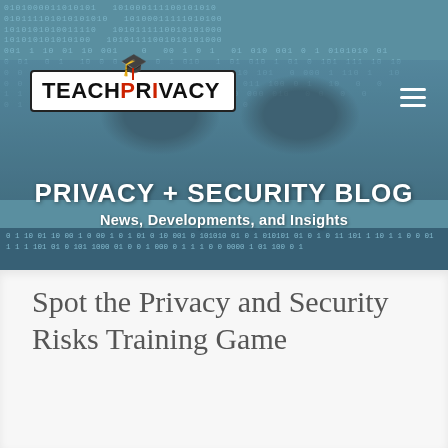[Figure (screenshot): TeachPrivacy website header banner showing a close-up of eyes over a binary code background with the blog title overlay]
Spot the Privacy and Security Risks Training Game